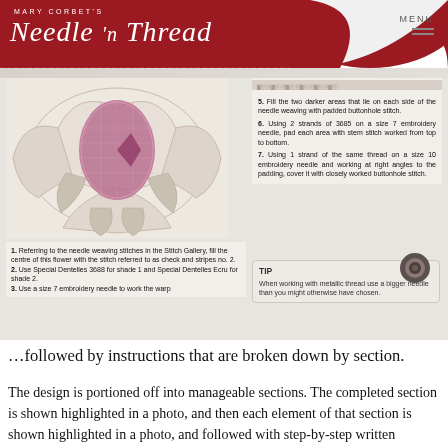MARY CORBET'S Needle 'n Thread — MENU
[Figure (screenshot): Screenshot of embroidery instruction page showing a flower embroidery photo on the left and numbered step-by-step instructions on the right, with a TIP box at the bottom right.]
…followed by instructions that are broken down by section.
The design is portioned off into manageable sections. The completed section is shown highlighted in a photo, and then each element of that section is shown highlighted in a photo, and followed with step-by-step written instructions to complete that part, with references to the stitch dictionary in the front of the book.
Throughout the project instructions, you will find handy little